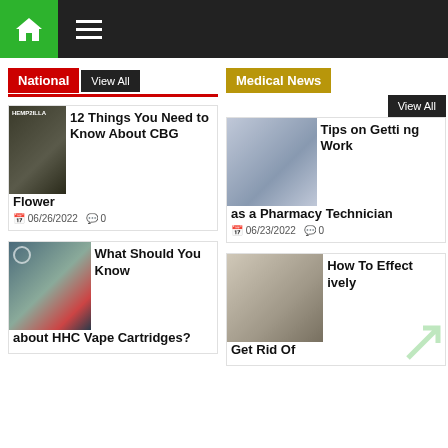Navigation bar with home icon and hamburger menu
National | View All
Medical News | View All
12 Things You Need to Know About CBG Flower
06/26/2022  0
Tips on Getting Work as a Pharmacy Technician
06/23/2022  0
What Should You Know about HHC Vape Cartridges?
How To Effectively
Get Rid Of